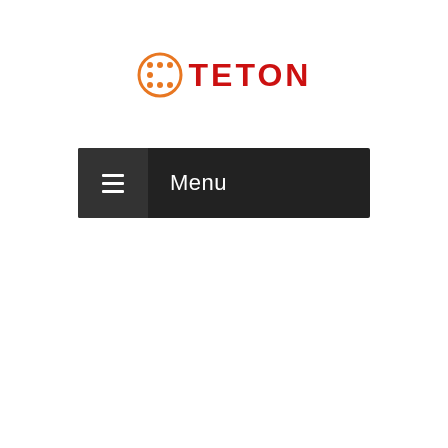[Figure (logo): Teton logo: orange circle icon with dots/dice pattern on left, bold red text TETON on right]
[Figure (screenshot): Dark navigation menu bar with hamburger icon on left dark grey box and Menu text label on right darker background]